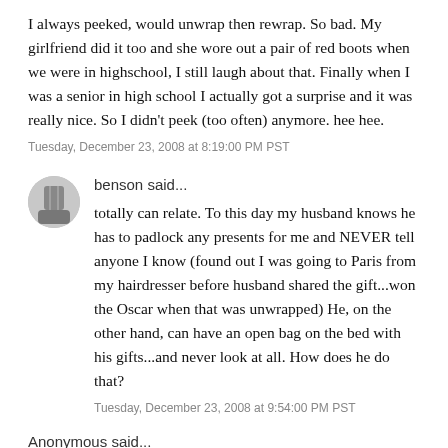I always peeked, would unwrap then rewrap. So bad. My girlfriend did it too and she wore out a pair of red boots when we were in highschool, I still laugh about that. Finally when I was a senior in high school I actually got a surprise and it was really nice. So I didn't peek (too often) anymore. hee hee.
Tuesday, December 23, 2008 at 8:19:00 PM PST
benson said...
totally can relate. To this day my husband knows he has to padlock any presents for me and NEVER tell anyone I know (found out I was going to Paris from my hairdresser before husband shared the gift...won the Oscar when that was unwrapped) He, on the other hand, can have an open bag on the bed with his gifts...and never look at all. How does he do that?
Tuesday, December 23, 2008 at 9:54:00 PM PST
Anonymous said...